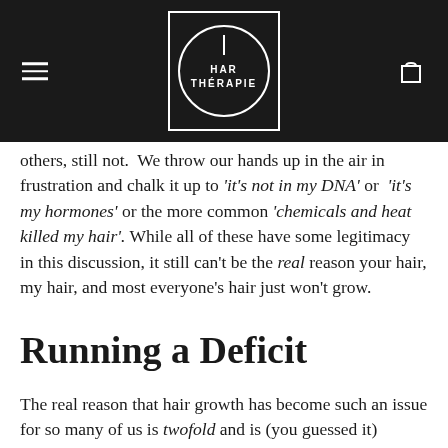[Figure (logo): Hair Thérapie logo: white square border containing a white circle with a vertical line at top, and the text HAR THÉRAPIE inside]
others, still not.  We throw our hands up in the air in frustration and chalk it up to 'it's not in my DNA' or  'it's my hormones' or the more common 'chemicals and heat killed my hair'.  While all of these have some legitimacy in this discussion, it still can't be the real reason your hair, my hair, and most everyone's hair just won't grow.
Running a Deficit
The real reason that hair growth has become such an issue for so many of us is twofold and is (you guessed it)